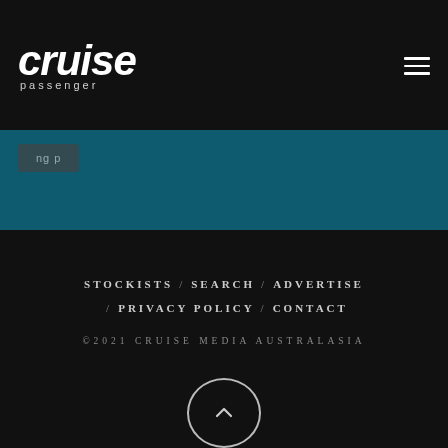cruise passenger
[Figure (screenshot): Teal/dark blue banner section with a partially visible dark button element]
STOCKISTS / SEARCH / ADVERTISE / PRIVACY POLICY / CONTACT
©2021 CRUISE MEDIA AUSTRALASIA